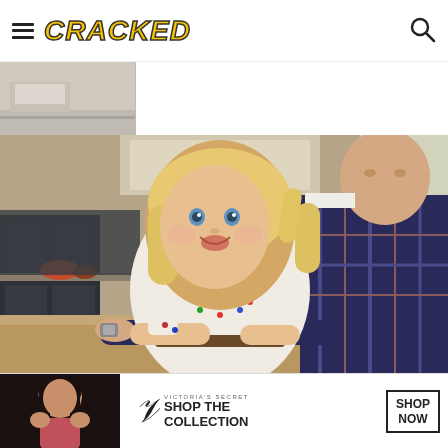CRACKED
[Figure (photo): Partial view of a light wood surface or shelf, cropped at top left of page]
[Figure (photo): A man in a plaid shirt and a young blonde toddler girl looking at a laptop together in a kitchen setting, smiling]
[Figure (photo): Victoria's Secret advertisement banner: woman model on left, Victoria's Secret script logo, text 'SHOP THE COLLECTION', and a 'SHOP NOW' button]